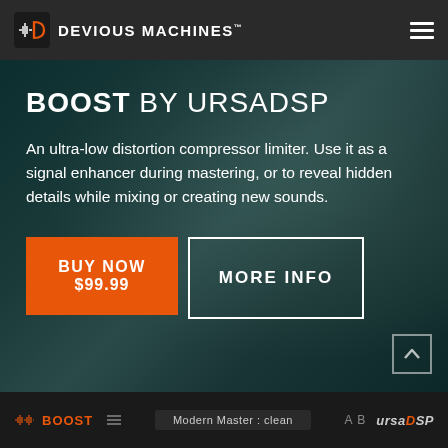DEVIOUS MACHINES
BOOST BY URSADSP
An ultra-low distortion compressor limiter. Use it as a signal enhancer during mastering, or to reveal hidden details while mixing or creating new sounds.
BUY NOW $99.99
MORE INFO
BOOST  Modern Master : clean  A B  URSADSP